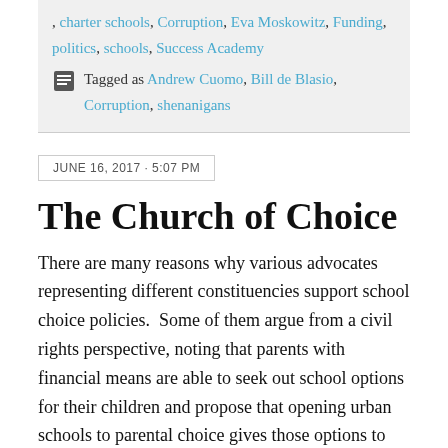, charter schools, Corruption, Eva Moskowitz, Funding, politics, schools, Success Academy
Tagged as Andrew Cuomo, Bill de Blasio, Corruption, shenanigans
JUNE 16, 2017 · 5:07 PM
The Church of Choice
There are many reasons why various advocates representing different constituencies support school choice policies.  Some of them argue from a civil rights perspective, noting that parents with financial means are able to seek out school options for their children and propose that opening urban schools to parental choice gives those options to families in